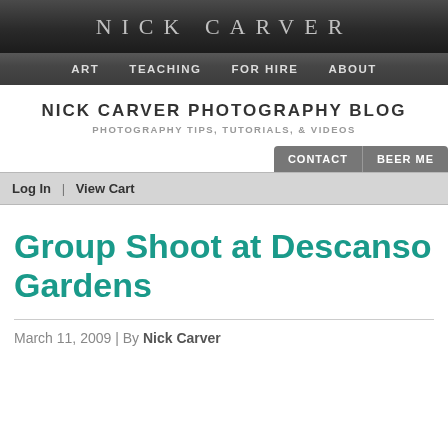NICK CARVER
ART  TEACHING  FOR HIRE  ABOUT
NICK CARVER PHOTOGRAPHY BLOG
PHOTOGRAPHY TIPS, TUTORIALS, & VIDEOS
CONTACT  BEER ME
Log In | View Cart
Group Shoot at Descanso Gardens
March 11, 2009 | By Nick Carver